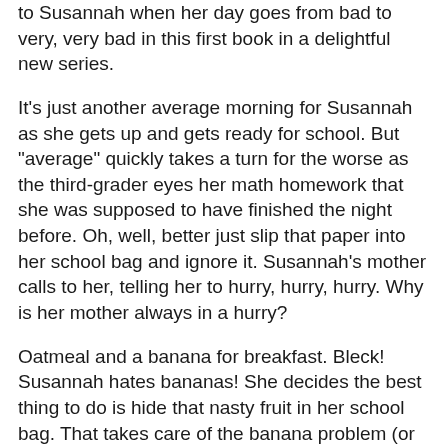to Susannah when her day goes from bad to very, very bad in this first book in a delightful new series.
It's just another average morning for Susannah as she gets up and gets ready for school. But "average" quickly takes a turn for the worse as the third-grader eyes her math homework that she was supposed to have finished the night before. Oh, well, better just slip that paper into her school bag and ignore it. Susannah's mother calls to her, telling her to hurry, hurry, hurry. Why is her mother always in a hurry?
Oatmeal and a banana for breakfast. Bleck! Susannah hates bananas! She decides the best thing to do is hide that nasty fruit in her school bag. That takes care of the banana problem (or does it?). Both her parents are in such a rush that they hardly notice their daughter. Why are they always rushing?
On the school bus, Susannah's best friend Lola reminds her about the sleepover. Lola wants to know why Susannah didn't take the invitation yesterday. Susannah doesn't want to tell her friend that Lola's house is old and creepy, with spiders and maybe even ghosts! Surely Susannah can't be